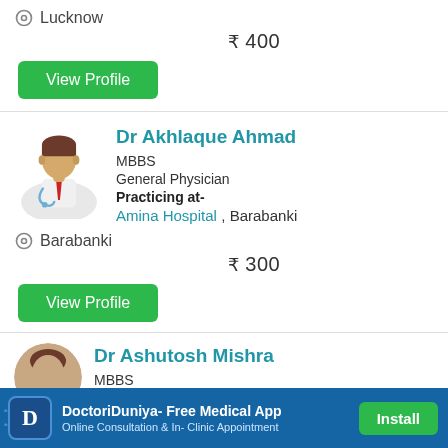Lucknow
₹ 400
View Profile
Dr Akhlaque Ahmad
MBBS
General Physician
Practicing at-
Amina Hospital , Barabanki
Barabanki
₹ 300
View Profile
Dr Ashutosh Mishra
MBBS
DoctoriDuniya- Free Medical App
Online Consultation & In- Clinic Appointment
Install